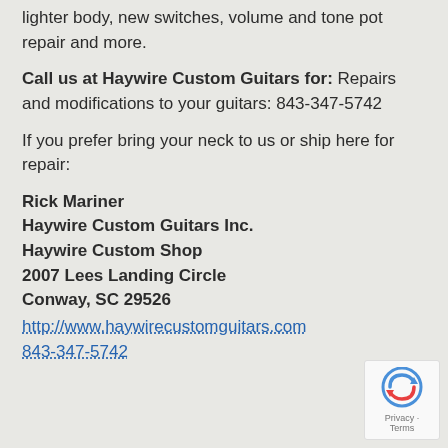lighter body, new switches, volume and tone pot repair and more.
Call us at Haywire Custom Guitars for: Repairs and modifications to your guitars: 843-347-5742
If you prefer bring your neck to us or ship here for repair:
Rick Mariner
Haywire Custom Guitars Inc.
Haywire Custom Shop
2007 Lees Landing Circle
Conway, SC 29526
http://www.haywirecustomguitars.com
843-347-5742
[Figure (logo): reCAPTCHA badge with Google logo and Privacy · Terms text]